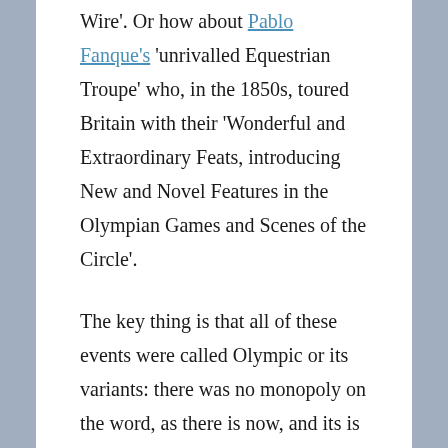Wire'. Or how about Pablo Fanque's 'unrivalled Equestrian Troupe' who, in the 1850s, toured Britain with their 'Wonderful and Extraordinary Feats, introducing New and Novel Features in the Olympian Games and Scenes of the Circle'.
The key thing is that all of these events were called Olympic or its variants: there was no monopoly on the word, as there is now, and its is up to historians to stress this historical diversity. We even have IOC founder Pierre de Coubertin on our side: "The term [Olympic] is in the public domain," he wrote in 1910.  "If you are not afraid of looking ridiculous, and if your efforts are considerable enough to be compared to what goes into organising a